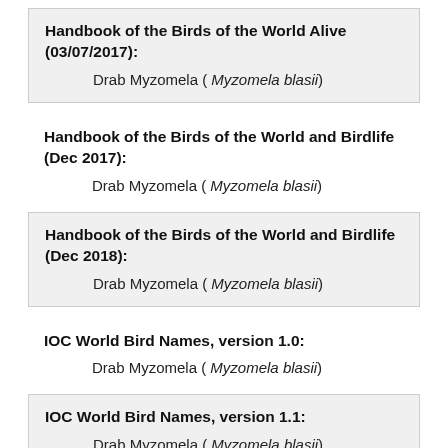Handbook of the Birds of the World Alive (03/07/2017):
Drab Myzomela ( Myzomela blasii)
Handbook of the Birds of the World and Birdlife (Dec 2017):
Drab Myzomela ( Myzomela blasii)
Handbook of the Birds of the World and Birdlife (Dec 2018):
Drab Myzomela ( Myzomela blasii)
IOC World Bird Names, version 1.0:
Drab Myzomela ( Myzomela blasii)
IOC World Bird Names, version 1.1:
Drab Myzomela ( Myzomela blasii)